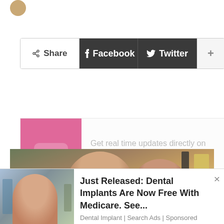[Figure (other): Social share bar with Share, Facebook, Twitter, and + buttons]
[Figure (other): Subscription widget: pink left panel with bell icon, right panel with text 'Get real time updates directly on you device, subscribe now.' and Subscribe button]
Get real time updates directly on you device, subscribe now.
[Figure (photo): Photo of two people, a woman and a man, outdoors]
[Figure (photo): Advertisement banner: Just Released: Dental Implants Are Now Free With Medicare. See... | Dental Implant | Search Ads | Sponsored]